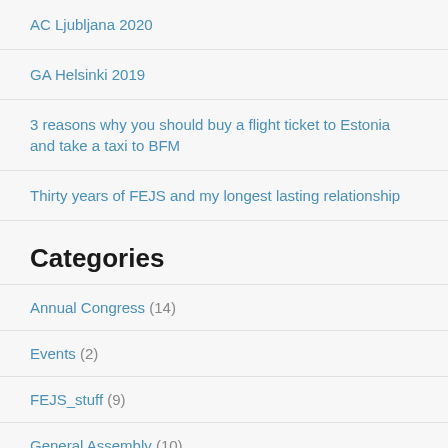AC Ljubljana 2020
GA Helsinki 2019
3 reasons why you should buy a flight ticket to Estonia and take a taxi to BFM
Thirty years of FEJS and my longest lasting relationship
Categories
Annual Congress (14)
Events (2)
FEJS_stuff (9)
General Assembly (10)